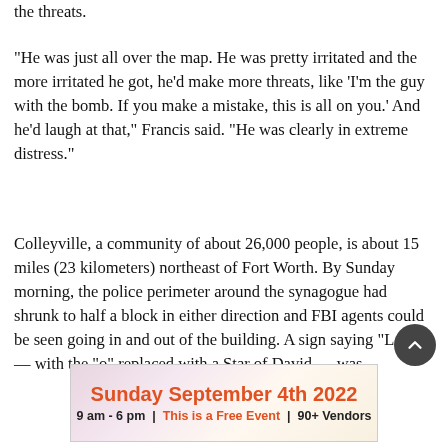the threats.
“He was just all over the map. He was pretty irritated and the more irritated he got, he’d make more threats, like ‘I’m the guy with the bomb. If you make a mistake, this is all on you.’ And he’d laugh at that,” Francis said. “He was clearly in extreme distress.”
Colleyville, a community of about 26,000 people, is about 15 miles (23 kilometers) northeast of Fort Worth. By Sunday morning, the police perimeter around the synagogue had shrunk to half a block in either direction and FBI agents could be seen going in and out of the building. A sign saying “Love” — with the “o” replaced with a Star of David — was
[Figure (infographic): Advertisement banner: Sunday September 4th 2022, 9 am - 6 pm | This is a Free Event | 90+ Vendors, with decorative food imagery on sides]